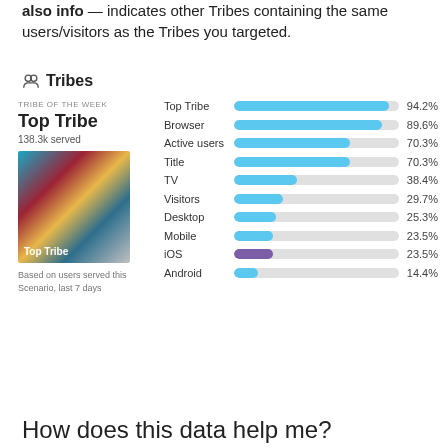indicates other Tribes containing the same users/visitors as the Tribes you targeted.
Tribes
TRIBE OF THE WEEK
Top Tribe
138.3k served
[Figure (bar-chart): Tribes overlap percentages]
Based on users served this Scenario, last 7 days
How does this data help me?